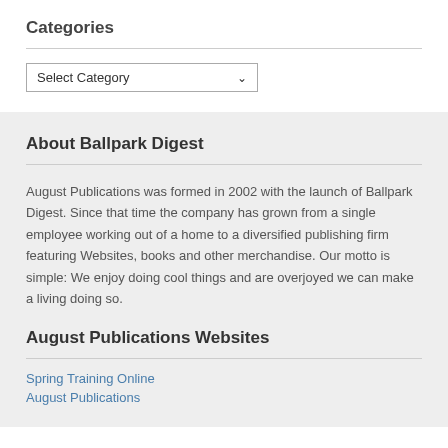Categories
Select Category
About Ballpark Digest
August Publications was formed in 2002 with the launch of Ballpark Digest. Since that time the company has grown from a single employee working out of a home to a diversified publishing firm featuring Websites, books and other merchandise. Our motto is simple: We enjoy doing cool things and are overjoyed we can make a living doing so.
August Publications Websites
Spring Training Online
August Publications